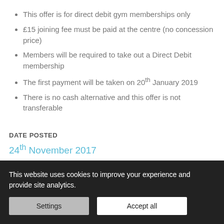This offer is for direct debit gym memberships only
£15 joining fee must be paid at the centre (no concession price)
Members will be required to take out a Direct Debit membership
The first payment will be taken on 20th January 2019
There is no cash alternative and this offer is not transferable
DATE POSTED
24th November 2017
This website uses cookies to improve your experience and provide site analytics.